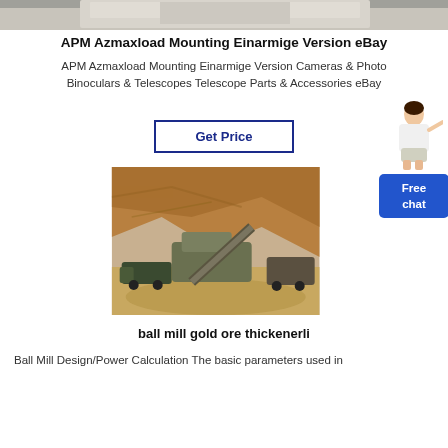[Figure (photo): Top partial image, appears to be a product or mounting hardware photo, cropped at top of page]
APM Azmaxload Mounting Einarmige Version eBay
APM Azmaxload Mounting Einarmige Version Cameras & Photo Binoculars & Telescopes Telescope Parts & Accessories eBay
Get Price
[Figure (illustration): Person figure (woman) standing and pointing, with a 'Free chat' blue button box]
[Figure (photo): Outdoor mining scene with heavy machinery and excavation equipment on a hillside with exposed earth/rock]
ball mill gold ore thickenerli
Ball Mill Design/Power Calculation The basic parameters used in